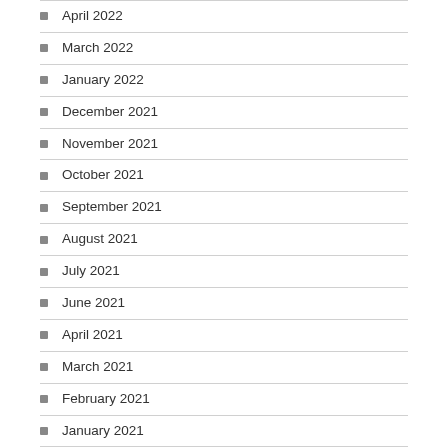April 2022
March 2022
January 2022
December 2021
November 2021
October 2021
September 2021
August 2021
July 2021
June 2021
April 2021
March 2021
February 2021
January 2021
December 2020